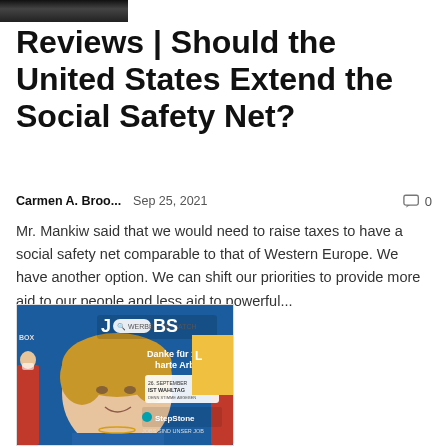[Figure (photo): Dark cropped photo at top of page, partial view of a scene]
Reviews | Should the United States Extend the Social Safety Net?
Carmen A. Broo...   Sep 25, 2021   💬 0
Mr. Mankiw said that we would need to raise taxes to have a social safety net comparable to that of Western Europe. We have another option. We can shift our priorities to provide more aid to our people and less aid to powerful...
[Figure (photo): Photo of Angela Merkel on a campaign billboard for StepStone JOBS, text reads 'Danke für 16 Jahre harte Arbeit.' with election date 26 September IST WAHLTAG, branding StepStone JOBS SIND UNSER JOB. People in red jackets visible at sides.]